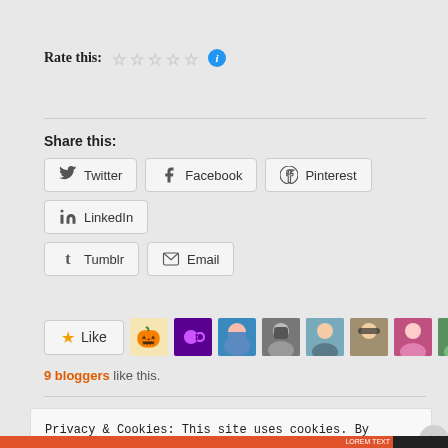Rate this: ☆☆☆☆☆ ℹ
Share this:
Twitter | Facebook | Pinterest | LinkedIn | Tumblr | Email
[Figure (other): Like button with star icon, followed by blogger avatar thumbnails (9 bloggers like this)]
9 bloggers like this.
Privacy & Cookies: This site uses cookies. By continuing to use this website, you agree to their use.
To find out more, including how to control cookies, see here:
Cookie Policy
Close and accept